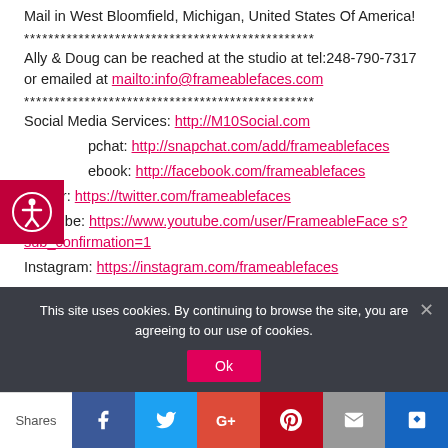Mail in West Bloomfield, Michigan, United States Of America!
************************************************
Ally & Doug can be reached at the studio at tel:248-790-7317 or emailed at mailto:info@frameablefaces.com
************************************************
Social Media Services: http://M10Social.com
Snapchat: http://snapchat.com/add/frameablefaces
Facebook: http://facebook.com/frameablefaces
Twitter: https://twitter.com/frameablefaces
YouTube: https://www.youtube.com/user/FrameableFaces?sub_confirmation=1
Instagram: https://instagram.com/frameablefaces
This site uses cookies. By continuing to browse the site, you are agreeing to our use of cookies.